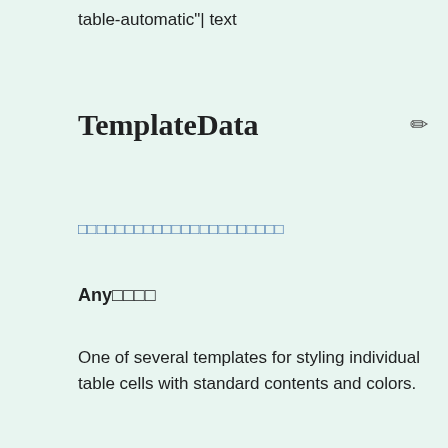table-automatic"| text
TemplateData
□□□□□□□□□□□□□□□□□□□□□□
Any□□□□
One of several templates for styling individual table cells with standard contents and colors.
□□□□
| □□ | □□ | □ | □ |
| --- | --- | --- | --- |
|  |  | text to be displayed instead of the default, if |  |  |